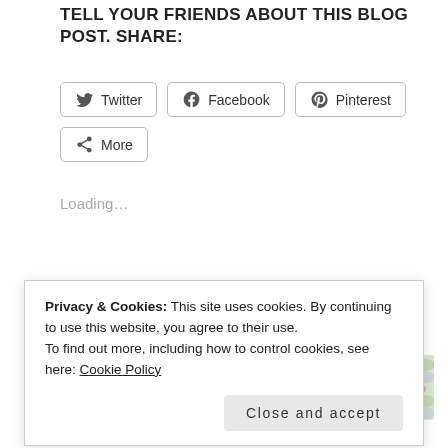TELL YOUR FRIENDS ABOUT THIS BLOG POST. SHARE:
[Figure (screenshot): Social share buttons: Twitter, Facebook, Pinterest, More — each with icon and border]
Loading...
RELATED
[Figure (photo): Two red circular chocolates with cursive lettering, a knitting/textile pattern in green and pink]
Privacy & Cookies: This site uses cookies. By continuing to use this website, you agree to their use.
To find out more, including how to control cookies, see here: Cookie Policy
Close and accept